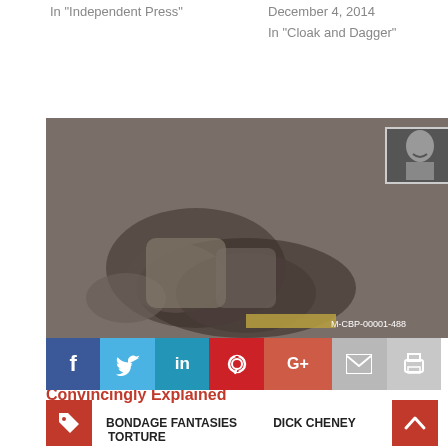In "Independent Press"
December 4, 2014
In "Cloak and Dagger"
[Figure (photo): A dark, grainy image with what appears to be debris or bodies, with a smaller inset photograph showing a person's face, and a label 'M-CBP-00001-488']
The Fake News Silence on 9/11 Finally and Convincingly Explained
March 20, 2015
In "9/11"
[Figure (infographic): Social sharing bar with icons: Facebook (f), Twitter (bird), LinkedIn (in), Pinterest (P), Google+ (G+), Email (envelope), Print (printer)]
BONDAGE FANTASIES   DICK CHENEY
TORTURE
PREVIOUS